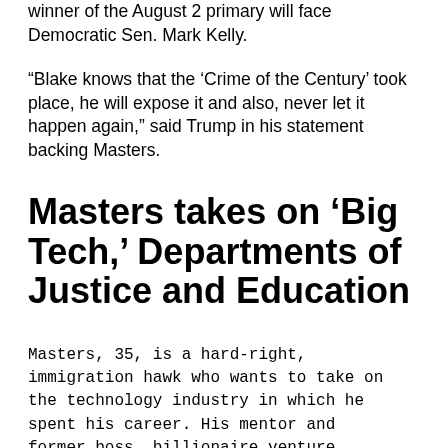winner of the August 2 primary will face Democratic Sen. Mark Kelly.
“Blake knows that the ‘Crime of the Century’ took place, he will expose it and also, never let it happen again,” said Trump in his statement backing Masters.
Masters takes on ‘Big Tech,’ Departments of Justice and Education
Masters, 35, is a hard-right, immigration hawk who wants to take on the technology industry in which he spent his career. His mentor and former boss, billionaire venture